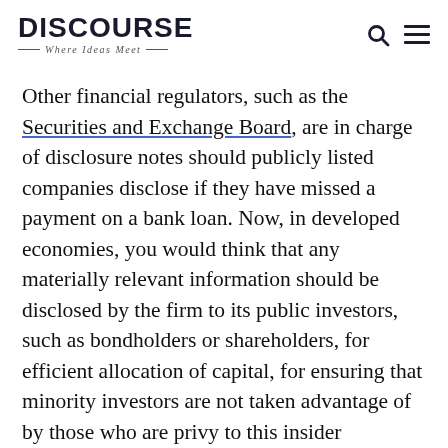DISCOURSE — Where Ideas Meet
Other financial regulators, such as the Securities and Exchange Board, are in charge of disclosure notes should publicly listed companies disclose if they have missed a payment on a bank loan. Now, in developed economies, you would think that any materially relevant information should be disclosed by the firm to its public investors, such as bondholders or shareholders, for efficient allocation of capital, for ensuring that minority investors are not taken advantage of by those who are privy to this insider information, and so on.